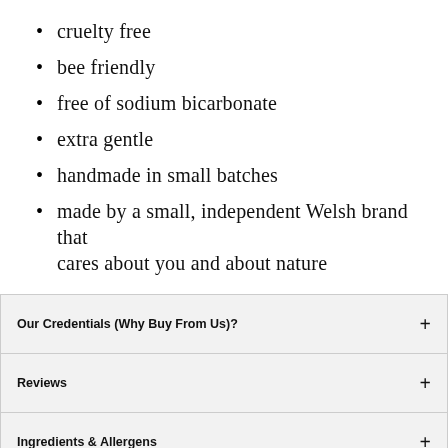cruelty free
bee friendly
free of sodium bicarbonate
extra gentle
handmade in small batches
made by a small, independent Welsh brand that cares about you and about nature
| Section | Toggle |
| --- | --- |
| Our Credentials (Why Buy From Us)? | + |
| Reviews | + |
| Ingredients & Allergens | + |
| Product Description | + |
| Directions for Use | + |
| Sample Size |  |